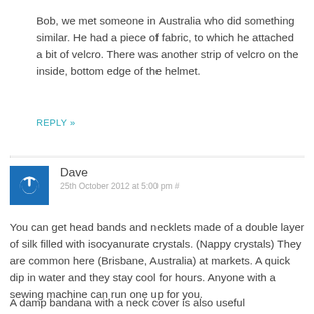Bob, we met someone in Australia who did something similar. He had a piece of fabric, to which he attached a bit of velcro. There was another strip of velcro on the inside, bottom edge of the helmet.
REPLY »
Dave
25th October 2012 at 5:00 pm #
You can get head bands and necklets made of a double layer of silk filled with isocyanurate crystals. (Nappy crystals) They are common here (Brisbane, Australia) at markets. A quick dip in water and they stay cool for hours. Anyone with a sewing machine can run one up for you.
A damp bandana with a neck cover is also useful